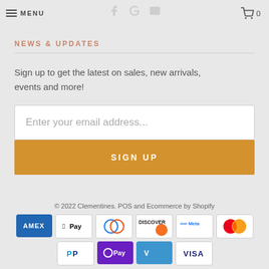MENU  0
NEWS & UPDATES
Sign up to get the latest on sales, new arrivals, events and more!
Enter your email address...
SIGN UP
© 2022 Clementines. POS and Ecommerce by Shopify
[Figure (other): Payment method icons: AMEX, Apple Pay, Diners Club, Discover, Meta Pay, Mastercard, PayPal, O Pay, Venmo, Visa]